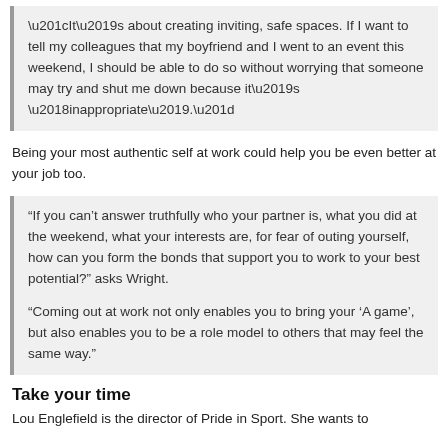“It’s about creating inviting, safe spaces. If I want to tell my colleagues that my boyfriend and I went to an event this weekend, I should be able to do so without worrying that someone may try and shut me down because it’s ‘inappropriate’.”
Being your most authentic self at work could help you be even better at your job too.
“If you can’t answer truthfully who your partner is, what you did at the weekend, what your interests are, for fear of outing yourself, how can you form the bonds that support you to work to your best potential?” asks Wright.
“Coming out at work not only enables you to bring your ‘A game’, but also enables you to be a role model to others that may feel the same way.”
Take your time
Lou Englefield is the director of Pride in Sport. She wants to